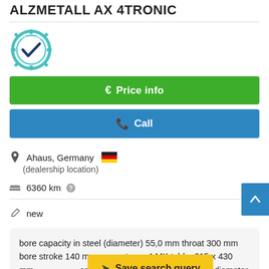ALZMETALL AX 4TRONIC
[Figure (logo): Certified Dealer badge/seal in teal/blue color]
€ Price info
✆ Call
Ahaus, Germany 🇩🇪
(dealership location)
6360 km ❓
new
bore capacity in steel (diameter) 55,0 mm throat 300 mm bore stroke 140 mm morse taper 4 MK table: 615 x 430 mm  engine output 1,8 / 2,9 kW column diameter 145 mm thr...
Save search query